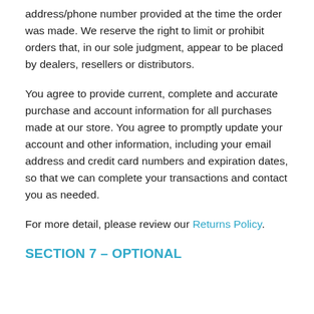address/phone number provided at the time the order was made. We reserve the right to limit or prohibit orders that, in our sole judgment, appear to be placed by dealers, resellers or distributors.
You agree to provide current, complete and accurate purchase and account information for all purchases made at our store. You agree to promptly update your account and other information, including your email address and credit card numbers and expiration dates, so that we can complete your transactions and contact you as needed.
For more detail, please review our Returns Policy.
SECTION 7 – OPTIONAL